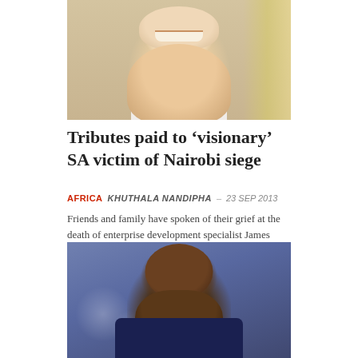[Figure (photo): Close-up photo of a smiling man with short dark hair wearing a white shirt, with a yellow-beige curtain in the background]
Tributes paid to ‘visionary’ SA victim of Nairobi siege
AFRICA  KHUTHALA NANDIPHA – 23 SEP 2013
Friends and family have spoken of their grief at the death of enterprise development specialist James Thomas in the Westgate mall attack in Kenya.
[Figure (photo): Photo of a dark-skinned bald man looking upward pensively with his hand near his chin, wearing a dark navy jacket, blurred blue-grey bokeh background]